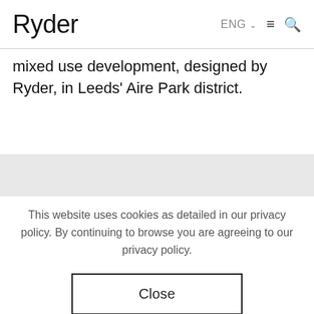Ryder  ENG ∨ ≡ 🔍
mixed use development, designed by Ryder, in Leeds' Aire Park district.
This website uses cookies as detailed in our privacy policy. By continuing to browse you are agreeing to our privacy policy.
Close